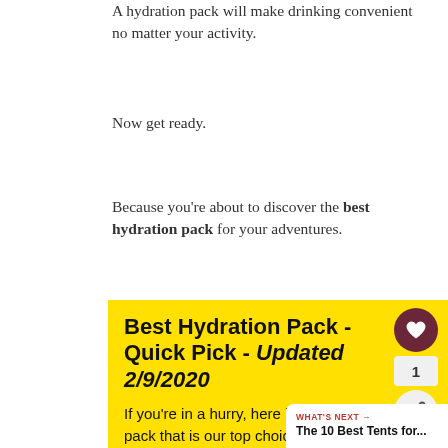A hydration pack will make drinking convenient no matter your activity.
Now get ready.
Because you're about to discover the best hydration pack for your adventures.
Best Hydration Pack - Quick Pick - Updated 2/9/2020
If you're in a hurry, here is the hydration pack that is our top choice in this review: